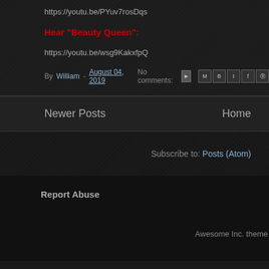https://youtu.be/PYuv7rosDqs
Hear "Beauty Queen":
https://youtu.be/wsg9KakxfpQ
By William - August 04, 2019   No comments:
Newer Posts
Home
Subscribe to: Posts (Atom)
Report Abuse
Awesome Inc. theme